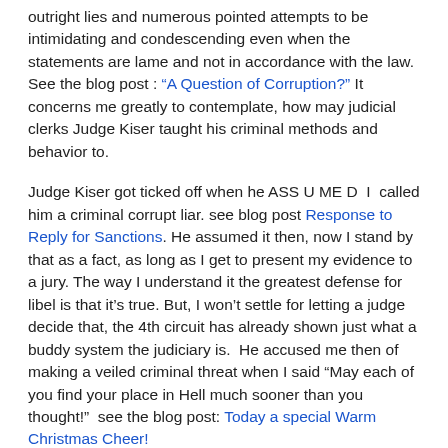outright lies and numerous pointed attempts to be intimidating and condescending even when the statements are lame and not in accordance with the law. See the blog post : “A Question of Corruption?” It concerns me greatly to contemplate, how may judicial clerks Judge Kiser taught his criminal methods and behavior to.
Judge Kiser got ticked off when he ASS U ME D  I  called him a criminal corrupt liar. see blog post Response to Reply for Sanctions. He assumed it then, now I stand by that as a fact, as long as I get to present my evidence to a jury. The way I understand it the greatest defense for libel is that it’s true. But, I won’t settle for letting a judge decide that, the 4th circuit has already shown just what a buddy system the judiciary is.  He accused me then of making a veiled criminal threat when I said “May each of you find your place in Hell much sooner than you thought!”  see the blog post: Today a special Warm Christmas Cheer!